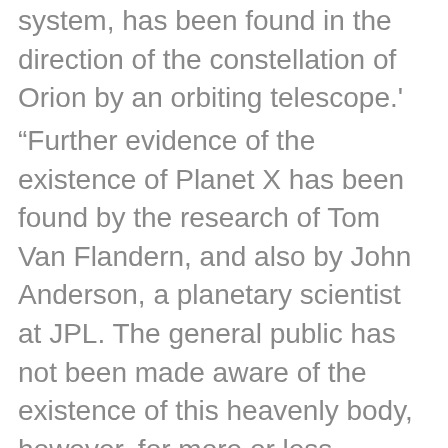system, has been found in the direction of the constellation of Orion by an orbiting telescope.'
“Further evidence of the existence of Planet X has been found by the research of Tom Van Flandern, and also by John Anderson, a planetary scientist at JPL. The general public has not been made aware of the existence of this heavenly body, however, for more or less obvious reasons: to avoid mass panic and societal chaos.
[Author’s Note: The general public has not been told for another reason: So the